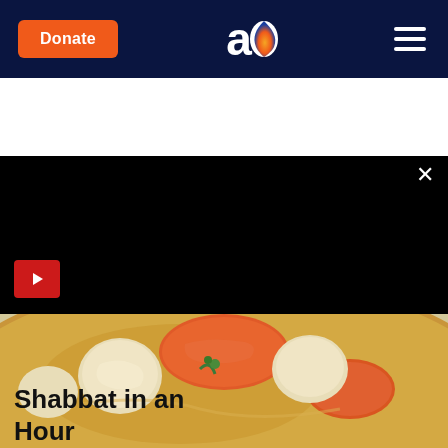Donate | Aish.com logo | hamburger menu
[Figure (screenshot): Dark black banner/advertisement area with a red play button icon on left, a red 'READ MORE' button centered at bottom, and a close (×) button at top right.]
[Figure (photo): Close-up photo of a bowl of chicken soup with matzo balls and carrots in golden broth, in a cream-colored bowl on a colorful striped surface.]
Shabbat in an Hour